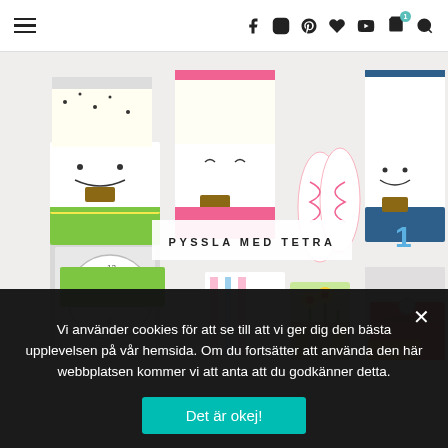Navigation header with hamburger menu and social/shop icons
[Figure (photo): Colorful craft projects made from Tetra Pak cartons arranged on a white surface, including houses, clocks, and decorative items with a 'PYSSLA MED TETRA' label overlay]
Vi använder cookies för att se till att vi ger dig den bästa upplevelsen på vår hemsida. Om du fortsätter att använda den här webbplatsen kommer vi att anta att du godkänner detta.
Det är okej!